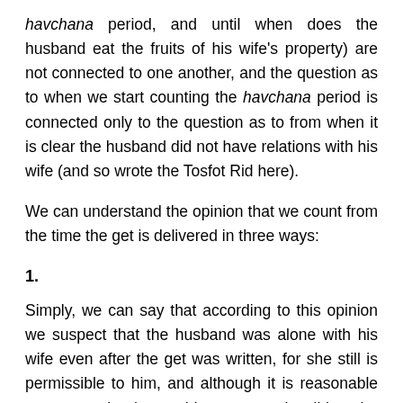havchana period, and until when does the husband eat the fruits of his wife's property) are not connected to one another, and the question as to when we start counting the havchana period is connected only to the question as to from when it is clear the husband did not have relations with his wife (and so wrote the Tosfot Rid here).
We can understand the opinion that we count from the time the get is delivered in three ways:
1.
Simply, we can say that according to this opinion we suspect that the husband was alone with his wife even after the get was written, for she still is permissible to him, and although it is reasonable to assume that he would not want to invalidate the get, nevertheless we